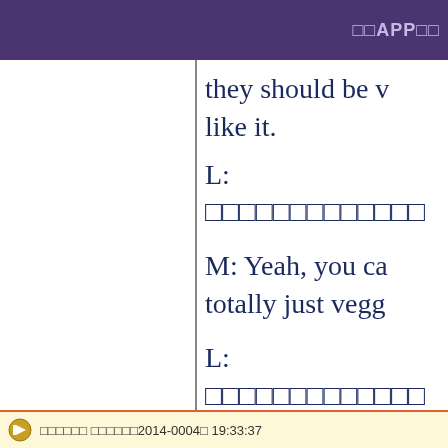□□APP□□
they should be v like it.
L: □□□□□□□□□□□□□
M: Yeah, you ca totally just vegg
L: □□□□□□□□□□□□□
□□□□□□ □□□□□□2014-0004□ 19:33:37